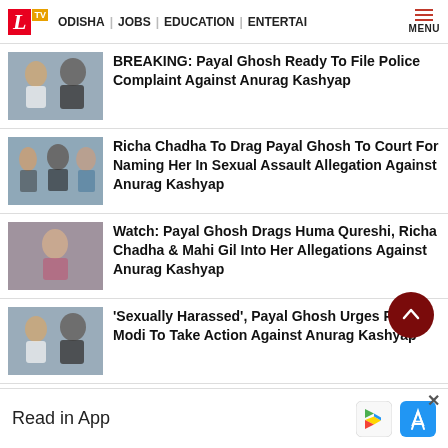LTV | ODISHA | JOBS | EDUCATION | ENTERTAI | MENU
BREAKING: Payal Ghosh Ready To File Police Complaint Against Anurag Kashyap
Richa Chadha To Drag Payal Ghosh To Court For Naming Her In Sexual Assault Allegation Against Anurag Kashyap
Watch: Payal Ghosh Drags Huma Qureshi, Richa Chadha & Mahi Gil Into Her Allegations Against Anurag Kashyap
'Sexually Harassed', Payal Ghosh Urges PM Modi To Take Action Against Anurag Kashyap
Anurag Kashyap Hits Back With Cryptic
Read in App